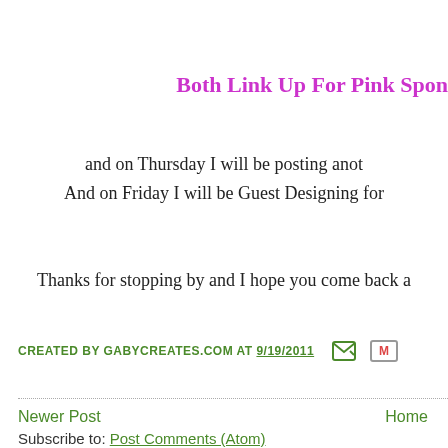Both Link Up For Pink Spon
and on Thursday I will be posting anot
And on Friday I will be Guest Designing for
Thanks for stopping by and I hope you come back a
CREATED BY GABYCREATES.COM AT 9/19/2011
Newer Post    Home
Subscribe to: Post Comments (Atom)